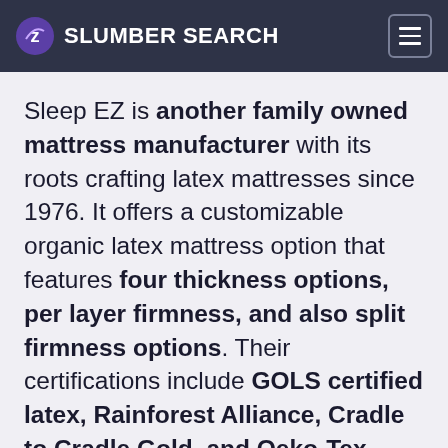SLUMBER SEARCH
Sleep EZ is another family owned mattress manufacturer with its roots crafting latex mattresses since 1976. It offers a customizable organic latex mattress option that features four thickness options, per layer firmness, and also split firmness options. Their certifications include GOLS certified latex, Rainforest Alliance, Cradle to Cradle Gold, and Oeko-Tex certifications. These mattresses provide high value for the customization options with some disagreements about edge support and longevity.